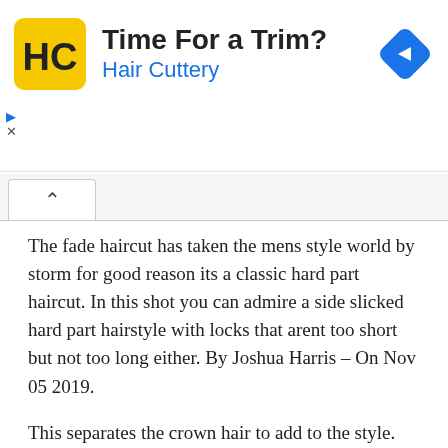[Figure (logo): Hair Cuttery advertisement banner with HC logo (black HC letters on yellow square background), text 'Time For a Trim?' in bold black and 'Hair Cuttery' in blue, and a blue diamond-shaped navigation icon on the right. Small blue triangle arrow and X close icons below on the left.]
[Figure (other): Tab bar with a white upward-chevron button (^) on a light grey background]
The fade haircut has taken the mens style world by storm for good reason its a classic hard part haircut. In this shot you can admire a side slicked hard part hairstyle with locks that arent too short but not too long either. By Joshua Harris – On Nov 05 2019.
This separates the crown hair to add to the style. Were going to start with the shortest hairstyle and work our way up to the longest. Asymmetrical Hard Part Hairstyle.